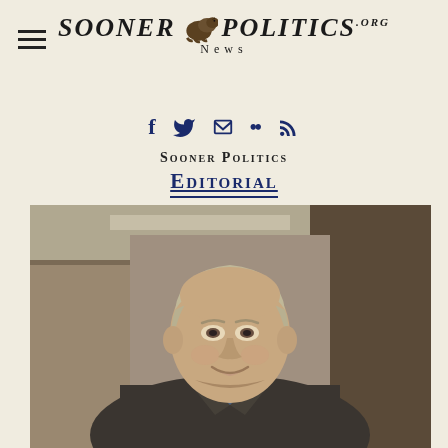Sooner Politics News .org
Sooner Politics Editorial
[Figure (photo): Headshot of a middle-aged man with gray-blond hair wearing a gray sport coat and blue shirt, smiling, photographed indoors with a blurred background]